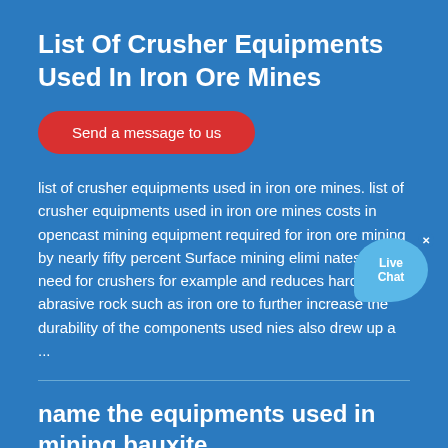List Of Crusher Equipments Used In Iron Ore Mines
Send a message to us
list of crusher equipments used in iron ore mines. list of crusher equipments used in iron ore mines costs in opencast mining equipment required for iron ore mining by nearly fifty percent Surface mining eliminates the need for crushers for example and reduces hard abrasive rock such as iron ore to further increase the durability of the components used nies also drew up a ...
name the equipments used in mining bauxite